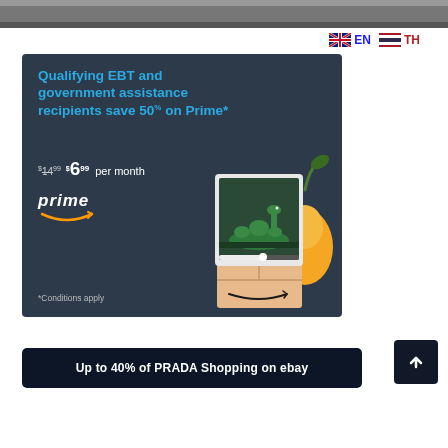[Figure (photo): Top banner image strip — dark photo/screenshot cropped at top]
EN  TH
[Figure (infographic): Amazon Prime advertisement on dark blue-grey background. Text: 'Qualifying EBT and government assistance recipients save 50% on Prime*'. Price: $14.99 $6.99 per month. Prime logo with smile arrow. Illustration of tablet showing animated creature, Amazon box, and pear. '*Conditions apply']
Up to 40% of PRADA Shopping on ebay
[Figure (other): Back to top button — dark square with upward chevron arrow]